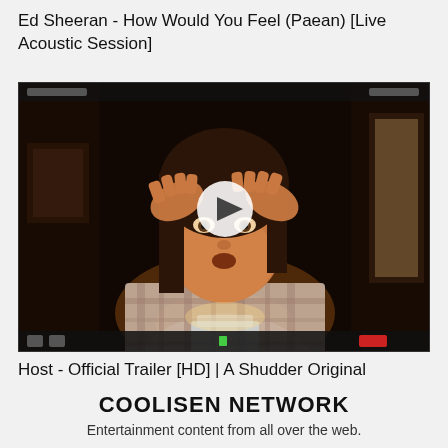Ed Sheeran - How Would You Feel (Paean) [Live Acoustic Session]
[Figure (screenshot): Video thumbnail showing a woman with dark hair holding her hands to her head in distress, looking at camera, in a dark room. A white circular play button overlay is centered on the image. The scene appears to be a Zoom/video call interface screenshot.]
Host - Official Trailer [HD] | A Shudder Original
COOLISEN NETWORK
Entertainment content from all over the web.